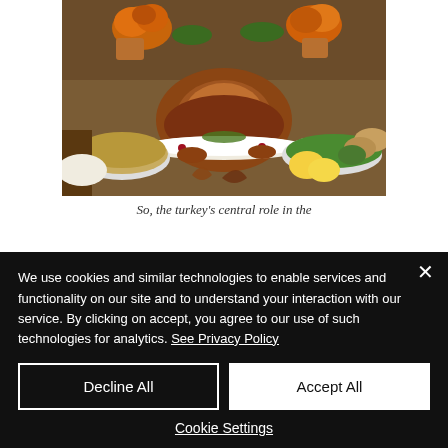[Figure (photo): A Thanksgiving dinner spread featuring a large roasted turkey as the centerpiece on a white platter surrounded by cranberries and herbs, with side dishes including stuffing, green beans, rolls, pumpkins, and orange flower arrangements on a decorated table.]
So, the turkey's central role in the
We use cookies and similar technologies to enable services and functionality on our site and to understand your interaction with our service. By clicking on accept, you agree to our use of such technologies for analytics. See Privacy Policy
Decline All
Accept All
Cookie Settings